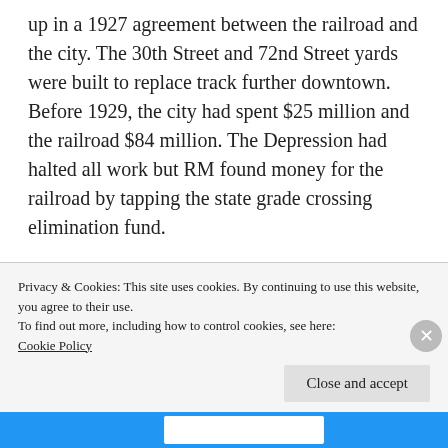up in a 1927 agreement between the railroad and the city. The 30th Street and 72nd Street yards were built to replace track further downtown. Before 1929, the city had spent $25 million and the railroad $84 million. The Depression had halted all work but RM found money for the railroad by tapping the state grade crossing elimination fund.
The Bronx-Whitestone Bridge which was built in 1936 made no provision for mass transit.
Privacy & Cookies: This site uses cookies. By continuing to use this website, you agree to their use.
To find out more, including how to control cookies, see here: Cookie Policy